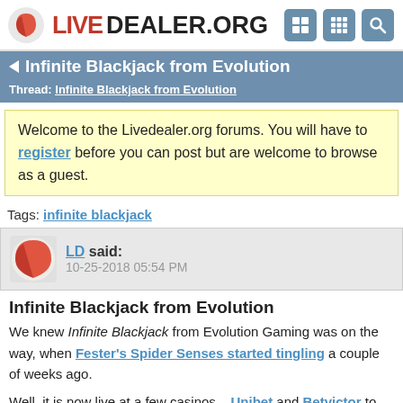LIVEDEALER.ORG
Infinite Blackjack from Evolution
Thread: Infinite Blackjack from Evolution
Welcome to the Livedealer.org forums. You will have to register before you can post but are welcome to browse as a guest.
Tags: infinite blackjack
LD said: 10-25-2018 05:54 PM
Infinite Blackjack from Evolution
We knew Infinite Blackjack from Evolution Gaming was on the way, when Fester's Spider Senses started tingling a couple of weeks ago.
Well, it is now live at a few casinos... Unibet and Betvictor to name a couple.